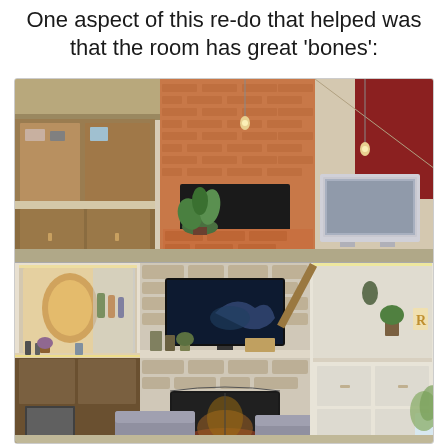One aspect of this re-do that helped was that the room has great 'bones':
[Figure (photo): Before photo of a living room showing a brick fireplace in the center, built-in wooden cabinets on the left, a red accent wall on the right, pendant lights hanging from vaulted ceiling, and an old boxy TV on the right side of the fireplace.]
[Figure (photo): After photo of the same living room renovated: stone-veneer fireplace with flat-screen TV mounted above, updated built-in cabinetry with lighting on the left (bar area), two gray armchairs in front of the fireplace, decorative shelving on the right with plants and decor, and warm ambient lighting throughout.]